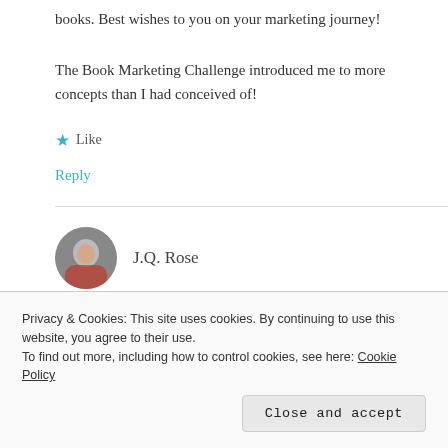books. Best wishes to you on your marketing journey!
The Book Marketing Challenge introduced me to more concepts than I had conceived of!
★ Like
Reply
J.Q. Rose
Privacy & Cookies: This site uses cookies. By continuing to use this website, you agree to their use.
To find out more, including how to control cookies, see here: Cookie Policy
Close and accept